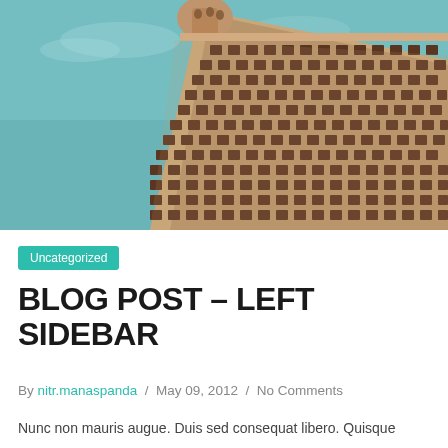[Figure (photo): Photo of the Flatiron Building in New York shot from below at an angle, against a teal/blue sky. The ornate beige-brown triangular skyscraper facade fills most of the frame.]
Uncategorized
BLOG POST – LEFT SIDEBAR
By nitr.manaspanda / May 09, 2012 / No Comments
Nunc non mauris augue. Duis sed consequat libero. Quisque